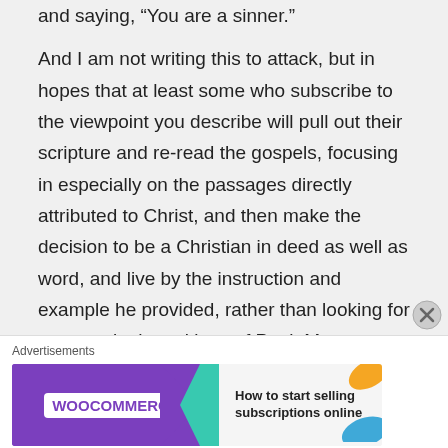thinking about pointing at someone else and saying, "You are a sinner."
And I am not writing this to attack, but in hopes that at least some who subscribe to the viewpoint you describe will pull out their scripture and re-read the gospels, focusing in especially on the passages directly attributed to Christ, and then make the decision to be a Christian in deed as well as word, and live by the instruction and example he provided, rather than looking for excuses in the writings of Paul, Moses or others for excuses to ignore portions of
[Figure (other): WooCommerce advertisement banner: 'How to start selling subscriptions online' with WooCommerce logo on purple background with teal arrow shape, and orange and blue decorative leaf shapes on the right side.]